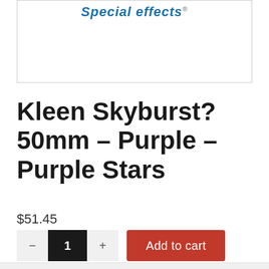[Figure (logo): Special effects logo text in blue italic with registered trademark symbol, inside a white bordered box]
Kleen Skyburst? 50mm – Purple – Purple Stars
$51.45
Add to cart quantity control with minus button, quantity 1, plus button, and red Add to cart button